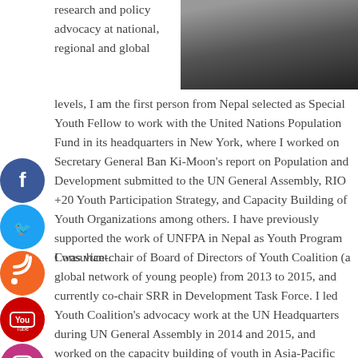[Figure (photo): Portrait photo of a person wearing a dark jacket, cropped at top right of page]
research and policy advocacy at national, regional and global levels, I am the first person from Nepal selected as Special Youth Fellow to work with the United Nations Population Fund in its headquarters in New York, where I worked on Secretary General Ban Ki-Moon's report on Population and Development submitted to the UN General Assembly, RIO +20 Youth Participation Strategy, and Capacity Building of Youth Organizations among others. I have previously supported the work of UNFPA in Nepal as Youth Program Consultant.
I was vice-chair of Board of Directors of Youth Coalition (a global network of young people) from 2013 to 2015, and currently co-chair SRR in Development Task Force. I led Youth Coalition's advocacy work at the UN Headquarters during UN General Assembly in 2014 and 2015, and worked on the capacity building of youth in Asia-Pacific regionally. I